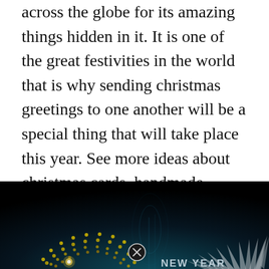across the globe for its amazing things hidden in it. It is one of the great festivities in the world that is why sending christmas greetings to one another will be a special thing that will take place this year. See more ideas about christmas cards, handmade christmas, christmas cards handmade.
[Figure (illustration): Dark teal/black background image showing New Year greeting card design with a dotted semicircle arc on the left in gold/yellow dots, a triangular spike fan on the right in silver/white, a close button (circled X) in the center bottom, and 'NEW YEAR' text in light blue/white at the bottom right.]